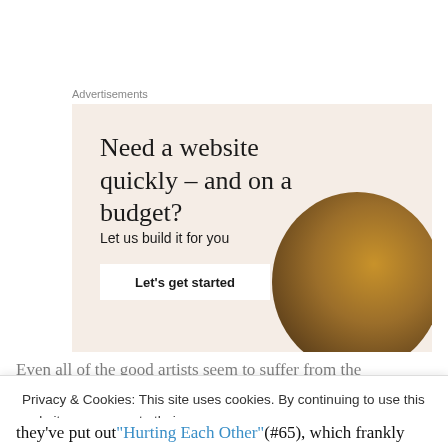Advertisements
[Figure (illustration): Advertisement banner with beige background showing text: 'Need a website quickly – and on a budget? Let us build it for you' with a 'Let's get started' button and a circular photo of a person working.]
Even all of the good artists seem to suffer from the
Privacy & Cookies: This site uses cookies. By continuing to use this website, you agree to their use.
To find out more, including how to control cookies, see here: Cookie Policy
they've put out "Hurting Each Other" (#65), which frankly